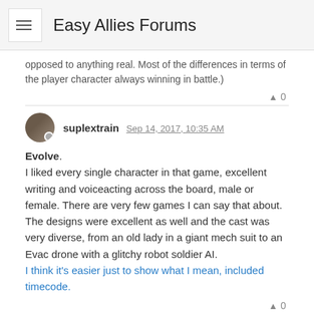Easy Allies Forums
opposed to anything real. Most of the differences in terms of the player character always winning in battle.)
▲ 0
suplextrain Sep 14, 2017, 10:35 AM
Evolve. I liked every single character in that game, excellent writing and voiceacting across the board, male or female. There are very few games I can say that about. The designs were excellent as well and the cast was very diverse, from an old lady in a giant mech suit to an Evac drone with a glitchy robot soldier AI. I think it's easier just to show what I mean, included timecode.
▲ 0
Brannox Sep 15, 2017, 2:55 PM
Instead of going top three, I'll pick three of my top five as my #1 and 2